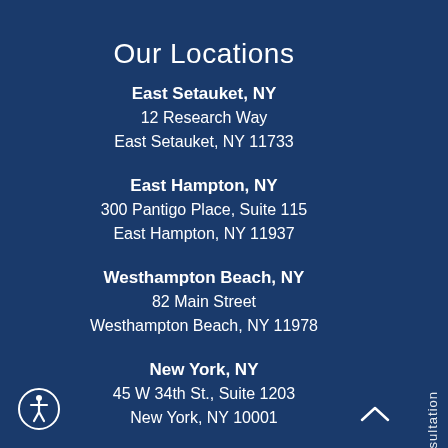Our Locations
East Setauket, NY
12 Research Way
East Setauket, NY 11733
East Hampton, NY
300 Pantigo Place, Suite 115
East Hampton, NY 11937
Westhampton Beach, NY
82 Main Street
Westhampton Beach, NY 11978
New York, NY
45 W 34th St., Suite 1203
New York, NY 10001